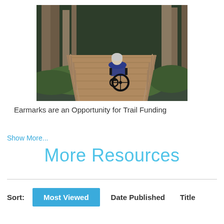[Figure (photo): A person in a wheelchair viewed from behind, traveling along a wooden boardwalk trail through a forested area with tall trees and green undergrowth on either side.]
Earmarks are an Opportunity for Trail Funding
Show More...
More Resources
Sort:   Most Viewed   Date Published   Title